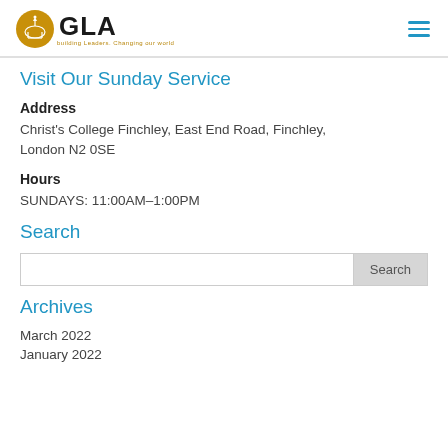[Figure (logo): GLA logo with golden circular emblem and text 'GLA' with tagline 'building Leaders. changing our world']
Visit Our Sunday Service
Address
Christ's College Finchley, East End Road, Finchley, London N2 0SE
Hours
SUNDAYS: 11:00AM–1:00PM
Search
Archives
March 2022
January 2022